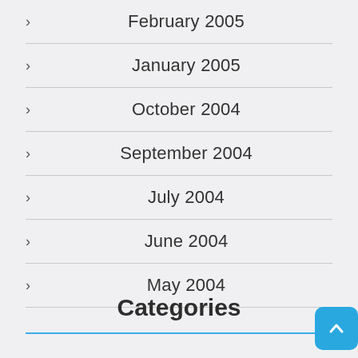February 2005
January 2005
October 2004
September 2004
July 2004
June 2004
May 2004
Categories